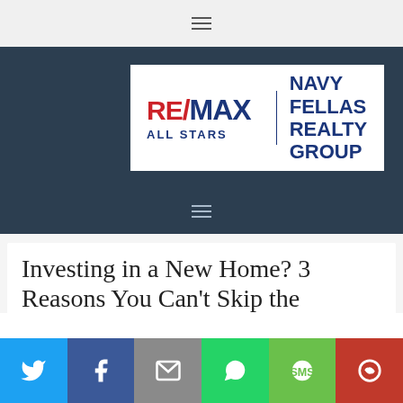≡
[Figure (logo): RE/MAX All Stars | Navy Fellas Realty Group logo on dark background]
Investing in a New Home? 3 Reasons You Can't Skip the
Share buttons: Twitter, Facebook, Email, WhatsApp, SMS, More